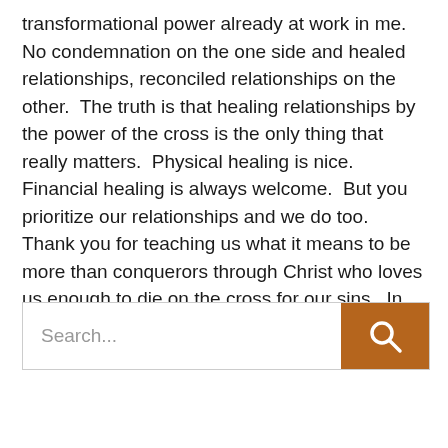transformational power already at work in me.  No condemnation on the one side and healed relationships, reconciled relationships on the other.  The truth is that healing relationships by the power of the cross is the only thing that really matters.  Physical healing is nice.  Financial healing is always welcome.  But you prioritize our relationships and we do too.  Thank you for teaching us what it means to be more than conquerors through Christ who loves us enough to die on the cross for our sins.  In your name I pray.  Amen.
[Figure (other): Search bar with text input field showing placeholder 'Search...' and a brown/orange search button with magnifying glass icon on the right]